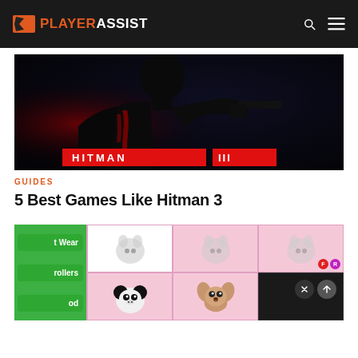PLAYERASSIST
[Figure (screenshot): Hitman 3 dark promotional screenshot showing a silhouetted assassin figure in profile holding a gun, with red accent lighting and a HITMAN title banner at the bottom]
GUIDES
5 Best Games Like Hitman 3
[Figure (screenshot): Adopt Me game interface showing green menu buttons labeled 't Wear', 'rollers', 'od' on the left, and a pink grid with cartoon pet icons including a panda and a chihuahua on the right, with F and R colored badges, and a dark overlay with close and up-arrow buttons]